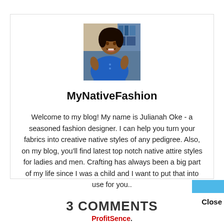[Figure (photo): Profile photo of a woman in a blue dress, smiling, with a bookshelf in the background]
MyNativeFashion
Welcome to my blog! My name is Julianah Oke - a seasoned fashion designer. I can help you turn your fabrics into creative native styles of any pedigree. Also, on my blog, you'll find latest top notch native attire styles for ladies and men. Crafting has always been a big part of my life since I was a child and I want to put that into use for you..
3 COMMENTS
ProfitSence.